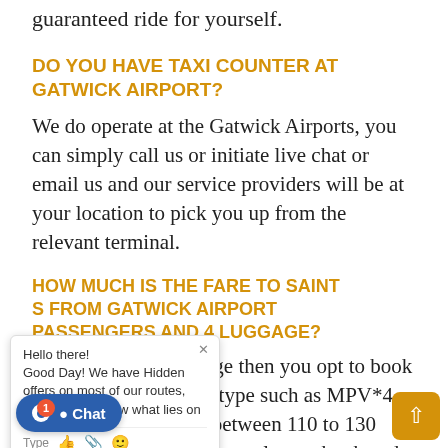guaranteed ride for yourself.
DO YOU HAVE TAXI COUNTER AT GATWICK AIRPORT?
We do operate at the Gatwick Airports, you can simply call us or initiate live chat or email us and our service providers will be at your location to pick you up from the relevant terminal.
HOW MUCH IS THE FARE TO SAINT S FROM GATWICK AIRPORT PASSENGERS AND 4 LUGGAGE?
are people with luggage then you opt to book a multi-purpose e can type such as MPV*4. This should cost you between 110 to 130 GBP depending on how early you book and